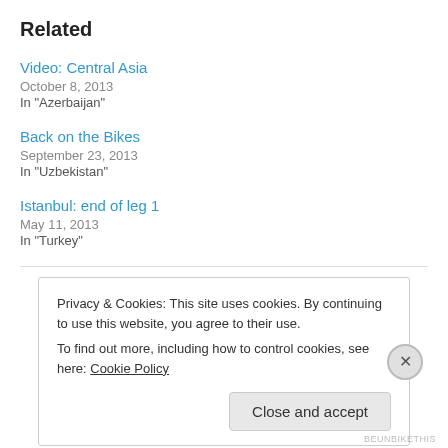Related
Video: Central Asia
October 8, 2013
In "Azerbaijan"
Back on the Bikes
September 23, 2013
In "Uzbekistan"
Istanbul: end of leg 1
May 11, 2013
In "Turkey"
Privacy & Cookies: This site uses cookies. By continuing to use this website, you agree to their use.
To find out more, including how to control cookies, see here: Cookie Policy
Close and accept